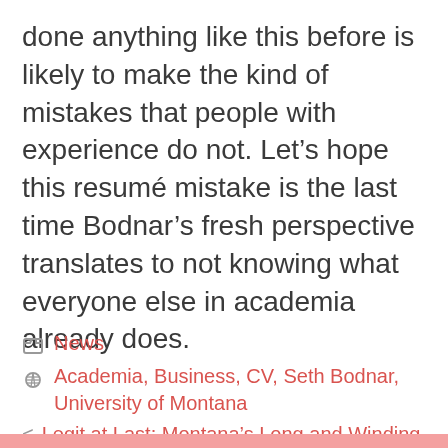done anything like this before is likely to make the kind of mistakes that people with experience do not. Let's hope this resumé mistake is the last time Bodnar's fresh perspective translates to not knowing what everyone else in academia already does.
News
Academia, Business, CV, Seth Bodnar, University of Montana
< Legit at Last: Montana's Long and Winding Road to Legal Medical Marijuana
> The Morel Hunters Are Coming. Lots and Lots of Morel Hunters